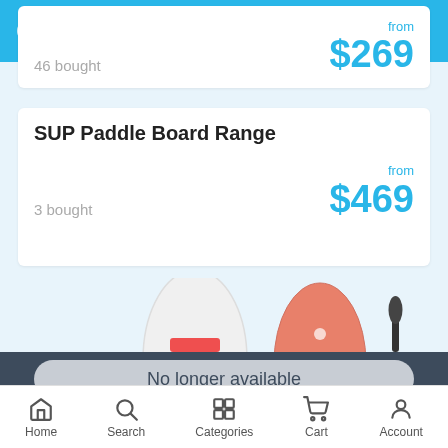GrabOne – Auckland
46 bought
from $269
SUP Paddle Board Range
3 bought
from $469
[Figure (photo): Product images of SUP paddle boards and a paddle against a light blue background]
No longer available
Home  Search  Categories  Cart  Account